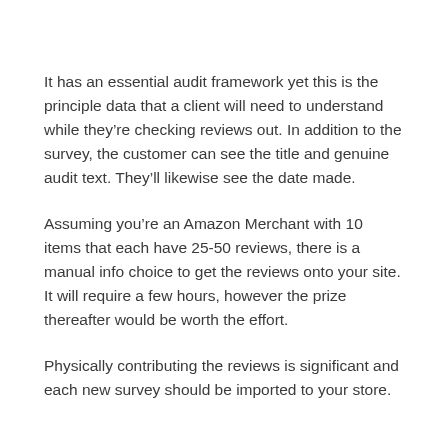It has an essential audit framework yet this is the principle data that a client will need to understand while they're checking reviews out. In addition to the survey, the customer can see the title and genuine audit text. They'll likewise see the date made.
Assuming you're an Amazon Merchant with 10 items that each have 25-50 reviews, there is a manual info choice to get the reviews onto your site. It will require a few hours, however the prize thereafter would be worth the effort.
Physically contributing the reviews is significant and each new survey should be imported to your store.